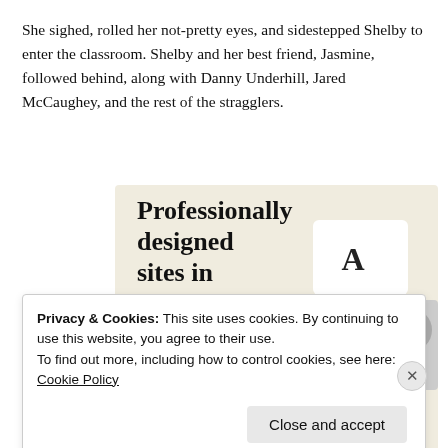She sighed, rolled her not-pretty eyes, and sidestepped Shelby to enter the classroom. Shelby and her best friend, Jasmine, followed behind, along with Danny Underhill, Jared McCaughey, and the rest of the stragglers.
[Figure (infographic): Advertisement banner with beige background showing text 'Professionally designed sites in less than a week' with a green 'Explore options' button and website mockup screenshots on the right side.]
Privacy & Cookies: This site uses cookies. By continuing to use this website, you agree to their use.
To find out more, including how to control cookies, see here: Cookie Policy